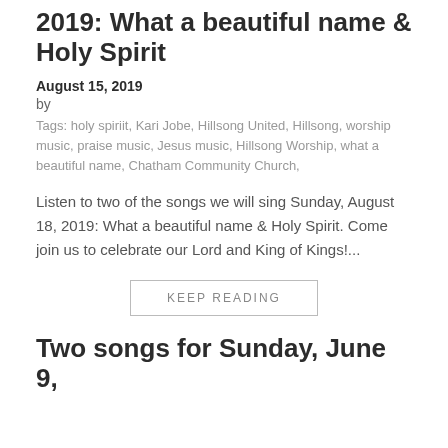2019: What a beautiful name & Holy Spirit
August 15, 2019
by
Tags: holy spiriit, Kari Jobe, Hillsong United, Hillsong, worship music, praise music, Jesus music, Hillsong Worship, what a beautiful name, Chatham Community Church,
Listen to two of the songs we will sing Sunday, August 18, 2019: What a beautiful name & Holy Spirit. Come join us to celebrate our Lord and King of Kings!...
KEEP READING
Two songs for Sunday, June 9,